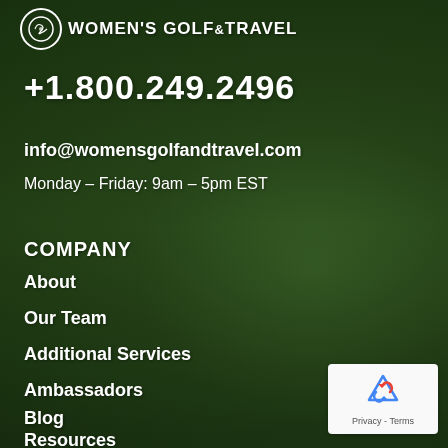[Figure (logo): Women's Golf & Travel logo with circular decorative emblem and text]
+1.800.249.2496
info@womensgolfandtravel.com
Monday – Friday: 9am – 5pm EST
COMPANY
About
Our Team
Additional Services
Ambassadors
Blog
Resources
[Figure (other): reCAPTCHA widget with recycling arrows logo and Privacy - Terms text]